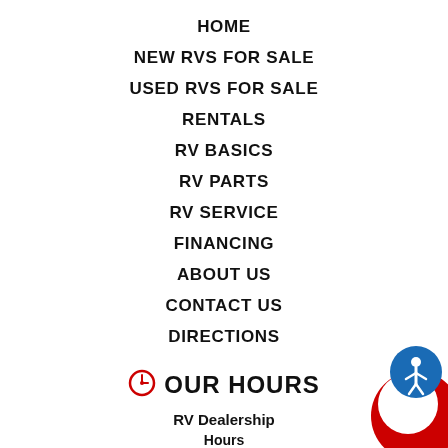HOME
NEW RVS FOR SALE
USED RVS FOR SALE
RENTALS
RV BASICS
RV PARTS
RV SERVICE
FINANCING
ABOUT US
CONTACT US
DIRECTIONS
OUR HOURS
RV Dealership
Hours